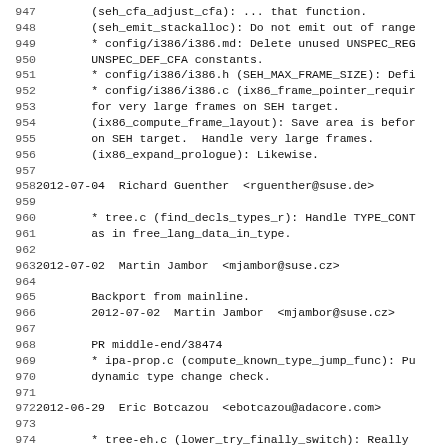947-978: ChangeLog entries for GCC commits, monospace code/log format listing commits by date, author, email, and file changes.